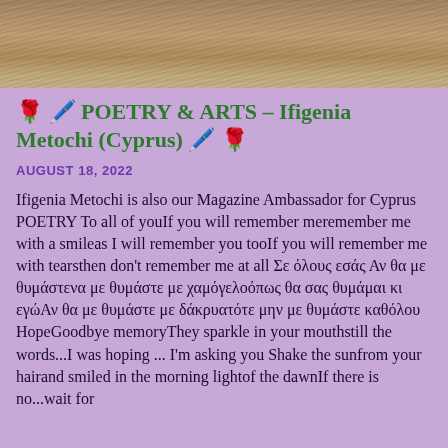[Figure (photo): Close-up photo of a person with curly/wavy hair, cropped to show hair and partial face at top of page]
🌹🖊️ POETRY & ARTS – Ifigenia Metochi (Cyprus) 🖊️ 🌹
AUGUST 18, 2022
Ifigenia Metochi is also our Magazine Ambassador for Cyprus POETRY To all of youIf you will remember meremember me with a smileas I will remember you tooIf you will remember me with tearsthen don't remember me at all Σε όλους εσάς Αν θα με θυμάστενα με θυμάστε με χαμόγελοόπως θα σας θυμάμαι κι εγώΑν θα με θυμάστε με δάκρυατότε μην με θυμάστε καθόλου HopeGoodbye memoryThey sparkle in your mouthstill the words...I was hoping ... I'm asking you Shake the sunfrom your hairand smiled in the morning lightof the dawnIf there is no...wait for